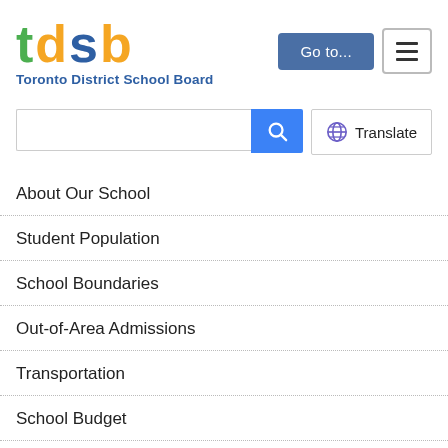[Figure (logo): TDSB logo with coloured letters t (green), d (orange), s (blue), b (orange) and subtitle 'Toronto District School Board' in blue]
[Figure (screenshot): Go to... navigation button (dark blue) and hamburger menu button (white with border)]
[Figure (screenshot): Search input field with blue search button and Translate button with globe icon]
About Our School
Student Population
School Boundaries
Out-of-Area Admissions
Transportation
School Budget